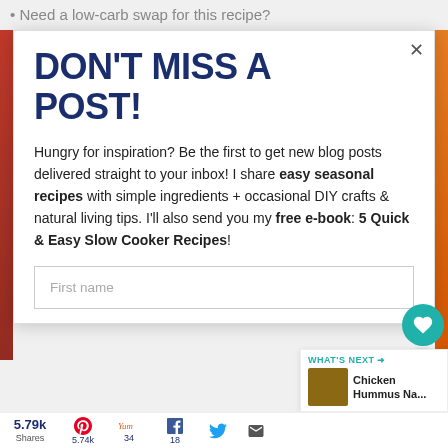Need a low-carb swap for this recipe?
DON'T MISS A POST!
Hungry for inspiration? Be the first to get new blog posts delivered straight to your inbox! I share easy seasonal recipes with simple ingredients + occasional DIY crafts & natural living tips. I'll also send you my free e-book: 5 Quick & Easy Slow Cooker Recipes!
First name
WHAT'S NEXT → Chicken Hummus Na...
5.79k Shares  5.74k  34  18